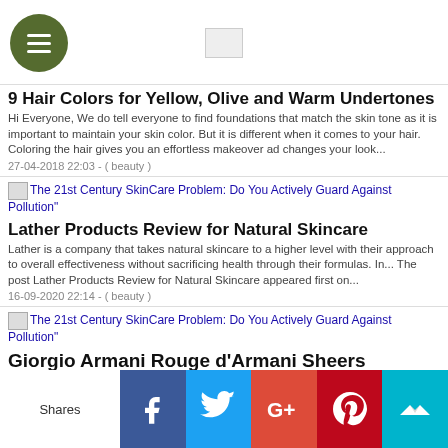[hamburger menu] [logo image]
9 Hair Colors for Yellow, Olive and Warm Undertones
Hi Everyone, We do tell everyone to find foundations that match the skin tone as it is important to maintain your skin color. But it is different when it comes to your hair. Coloring the hair gives you an effortless makeover ad changes your look...
27-04-2018 22:03 - ( beauty )
[Figure (screenshot): Image link: The 21st Century SkinCare Problem: Do You Actively Guard Against Pollution"]
Lather Products Review for Natural Skincare
Lather is a company that takes natural skincare to a higher level with their approach to overall effectiveness without sacrificing health through their formulas. In... The post Lather Products Review for Natural Skincare appeared first on...
16-09-2020 22:14 - ( beauty )
[Figure (screenshot): Image link: The 21st Century SkinCare Problem: Do You Actively Guard Against Pollution"]
Giorgio Armani Rouge d'Armani Sheers Lipstick Vita 501, Orange Mutation 302 Review, Swatch, FOTD
Claims : Featuring a creamy texture, feather-light and translucent, as hydrating as a balm,
Shares
Facebook | Twitter | Google+ | Pinterest | Crown